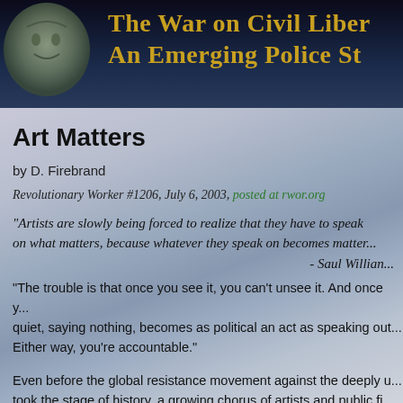[Figure (illustration): Dark header banner with stylized face/coin image on the left and yellow-gold title text 'The War on Civil Liber... An Emerging Police St...' on the right, on a dark blue-black background]
Art Matters
by D. Firebrand
Revolutionary Worker #1206, July 6, 2003, posted at rwor.org
"Artists are slowly being forced to realize that they have to speak on what matters, because whatever they speak on becomes matter...
- Saul Willian...
"The trouble is that once you see it, you can't unsee it. And once y... quiet, saying nothing, becomes as political an act as speaking out... Either way, you're accountable."
Even before the global resistance movement against the deeply u... took the stage of history, a growing chorus of artists and public fi...